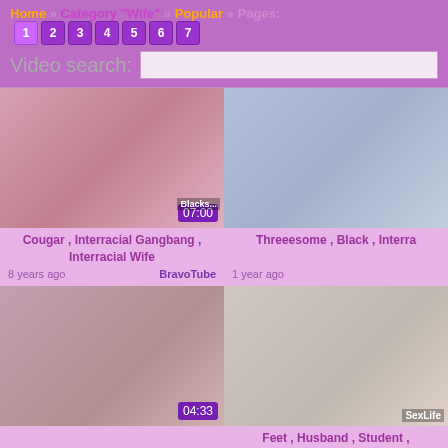Home » Category "Wife" » Popular » Pages: 1 2 3 4 5 6 7
Video search:
[Figure (screenshot): Video thumbnail top-left: Cougar, Interracial Gangbang, Interracial Wife. Duration 07:00. 8 years ago. BravoTube.]
[Figure (screenshot): Video thumbnail top-right: Threeesome, Black, Interra... 1 year ago.]
[Figure (screenshot): Video thumbnail bottom-left: Duration 04:33. 1 month ago. ProPorn.]
[Figure (screenshot): Video thumbnail bottom-right: SexLife watermark. Feet, Husband, Student, Blowjob. 7 years ago.]